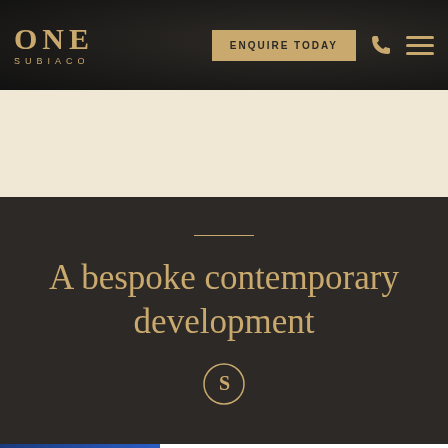ONE SUBIACO
A bespoke contemporary development